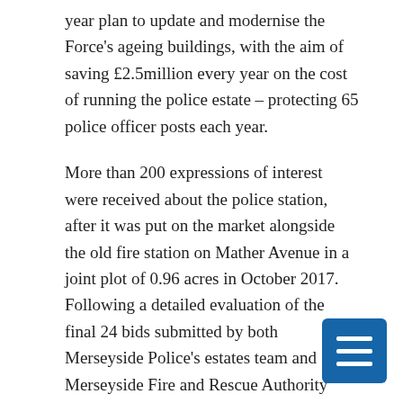year plan to update and modernise the Force's ageing buildings, with the aim of saving £2.5million every year on the cost of running the police estate – protecting 65 police officer posts each year.
More than 200 expressions of interest were received about the police station, after it was put on the market alongside the old fire station on Mather Avenue in a joint plot of 0.96 acres in October 2017. Following a detailed evaluation of the final 24 bids submitted by both Merseyside Police's estates team and Merseyside Fire and Rescue Authority (MFRA), the joint site was sold to housing association Liverpool Mutual Homes who submitted the highest unconditional offer.
The new postal address for the Office of the Police Crime Commissioner will be: